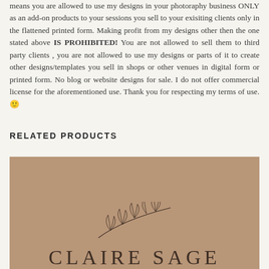means you are allowed to use my designs in your photoraphy business ONLY as an add-on products to your sessions you sell to your exisiting clients only in the flattened printed form. Making profit from my designs other then the one stated above IS PROHIBITED! You are not allowed to sell them to third party clients , you are not allowed to use my designs or parts of it to create other designs/templates you sell in shops or other venues in digital form or printed form. No blog or website designs for sale. I do not offer commercial license for the aforementioned use. Thank you for respecting my terms of use.🙂
RELATED PRODUCTS
[Figure (illustration): Product thumbnail with tan/brown background featuring a botanical leaf/branch illustration above the text CLAIRE SAGE in large serif letters]